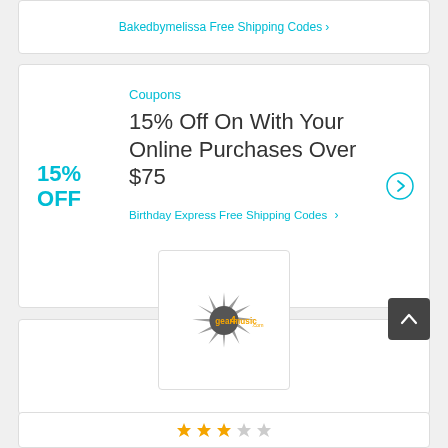Bakedbymelissa Free Shipping Codes ›
Coupons
15% OFF
15% Off On With Your Online Purchases Over $75
Birthday Express Free Shipping Codes ›
[Figure (logo): gear4music.com logo with starburst graphic]
[Figure (other): Star rating icons row, partially visible]